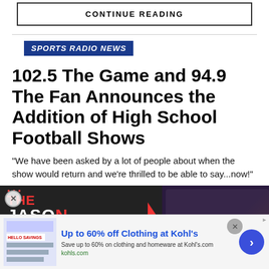CONTINUE READING
SPORTS RADIO NEWS
102.5 The Game and 94.9 The Fan Announces the Addition of High School Football Shows
"We have been asked by a lot of people about when the show would return and we're thrilled to be able to say...now!"
[Figure (screenshot): Ad overlays showing The Jason Barrett Podcast logo on left and Jim Rome Got New Playbook image on right, with a close button]
[Figure (screenshot): Bottom advertisement banner: Up to 60% off Clothing at Kohl's - Save up to 60% on clothing and homeware at Kohls.com]